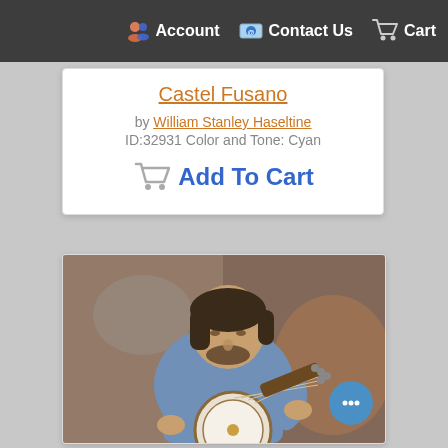Account  Contact Us  Cart
Castel Fusano
by William Stanley Haseltine
ID:32931 Color and Tone: Cyan
Add To Cart
[Figure (photo): Oil painting of a man with dark hair and beard playing a banjo, wearing a light blue shirt, seated against a brown/grey background]